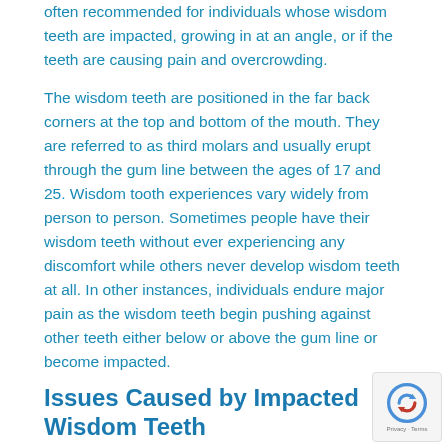often recommended for individuals whose wisdom teeth are impacted, growing in at an angle, or if the teeth are causing pain and overcrowding.
The wisdom teeth are positioned in the far back corners at the top and bottom of the mouth. They are referred to as third molars and usually erupt through the gum line between the ages of 17 and 25. Wisdom tooth experiences vary widely from person to person. Sometimes people have their wisdom teeth without ever experiencing any discomfort while others never develop wisdom teeth at all. In other instances, individuals endure major pain as the wisdom teeth begin pushing against other teeth either below or above the gum line or become impacted.
Issues Caused by Impacted Wisdom Teeth